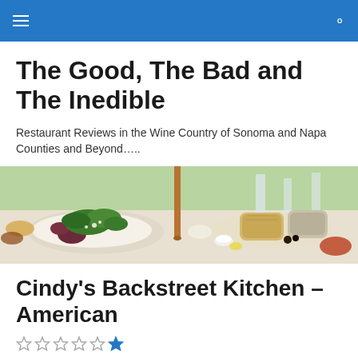The Good, The Bad and The Inedible
Restaurant Reviews in the Wine Country of Sonoma and Napa Counties and Beyond…..
[Figure (photo): Outdoor table spread with salad plates, bread, and food items on a white tablecloth with greenery in the background]
Cindy's Backstreet Kitchen – American